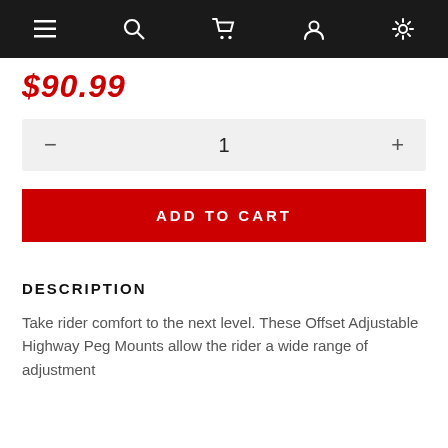Navigation bar with menu, search, cart, account, settings icons
$90.99
1
ADD TO CART
DESCRIPTION
Take rider comfort to the next level. These Offset Adjustable Highway Peg Mounts allow the rider a wide range of adjustment